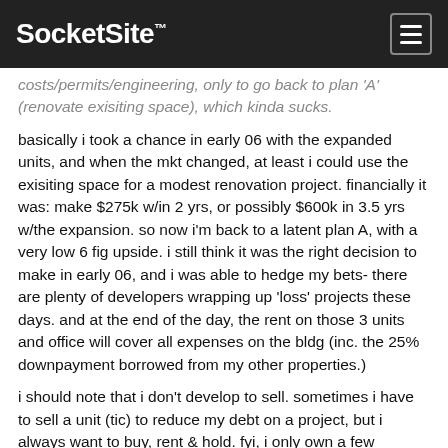SocketSite™
costs/permits/engineering, only to go back to plan 'A' (renovate exisiting space), which kinda sucks.
basically i took a chance in early 06 with the expanded units, and when the mkt changed, at least i could use the exisiting space for a modest renovation project. financially it was: make $275k w/in 2 yrs, or possibly $600k in 3.5 yrs w/the expansion. so now i'm back to a latent plan A, with a very low 6 fig upside. i still think it was the right decision to make in early 06, and i was able to hedge my bets- there are plenty of developers wrapping up 'loss' projects these days. and at the end of the day, the rent on those 3 units and office will cover all expenses on the bldg (inc. the 25% downpayment borrowed from my other properties.)
i should note that i don't develop to sell. sometimes i have to sell a unit (tic) to reduce my debt on a project, but i always want to buy, rent & hold. fyi, i only own a few properties (i'm no mogul!)- 3 condos and a 3 unit bldg. but as an older and wiser RE investor once told me, it's not how many properties you own, it's how many you can hold on to when the sh*t hits the fan…and i've been dodging splatter since mid- sept 08!
Posted by REpornaddict 14 years ago